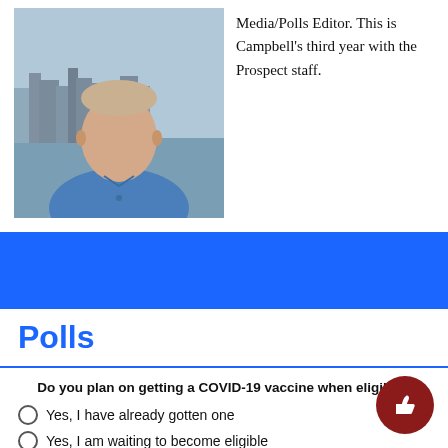[Figure (photo): Photo of a young man in a blue button-up shirt standing outdoors near water with a city skyline in the background.]
Media/Polls Editor. This is Campbell's third year with the Prospect staff.
Polls
Do you plan on getting a COVID-19 vaccine when eligible?
Yes, I have already gotten one
Yes, I am waiting to become eligible
Yes, I am getting it soon
Maybe
No
Vote
View Results